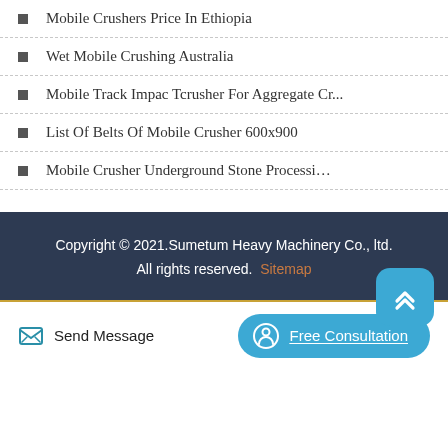Mobile Crushers Price In Ethiopia
Wet Mobile Crushing Australia
Mobile Track Impac Tcrusher For Aggregate Cr…
List Of Belts Of Mobile Crusher 600x900
Mobile Crusher Underground Stone Processi…
Copyright © 2021.Sumetum Heavy Machinery Co., ltd. All rights reserved. Sitemap
Send Message
Free Consultation